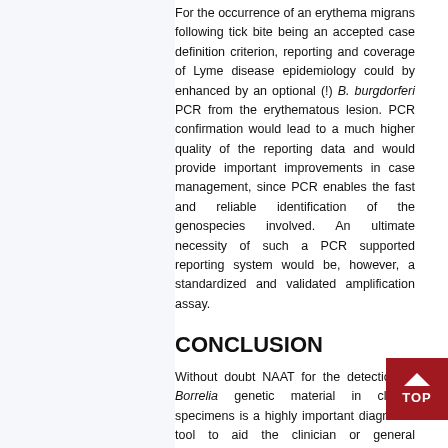For the occurrence of an erythema migrans following tick bite being an accepted case definition criterion, reporting and coverage of Lyme disease epidemiology could by enhanced by an optional (!) B. burgdorferi PCR from the erythematous lesion. PCR confirmation would lead to a much higher quality of the reporting data and would provide important improvements in case management, since PCR enables the fast and reliable identification of the genospecies involved. An ultimate necessity of such a PCR supported reporting system would be, however, a standardized and validated amplification assay.
CONCLUSION
Without doubt NAAT for the detection of Borrelia genetic material in clinical specimens is a highly important diagnostic tool to aid the clinician or general practitioner/office physician in finding or